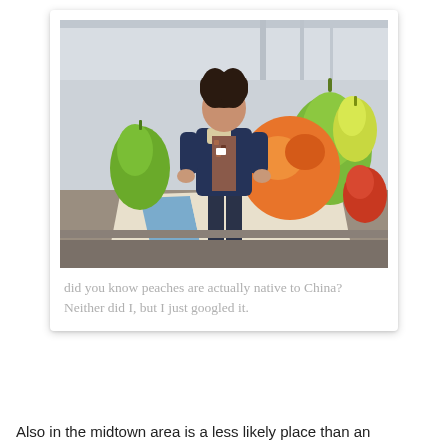[Figure (photo): A woman with dark curly hair wearing a denim jacket over a patterned shirt and dark jeans stands with hands on hips in front of large sculptural oversized fruit (pears, peach) in an indoor exhibition space. A large canvas with blue stripe is on the floor behind her.]
did you know peaches are actually native to China? Neither did I, but I just googled it.
Also in the midtown area is a less likely place than an